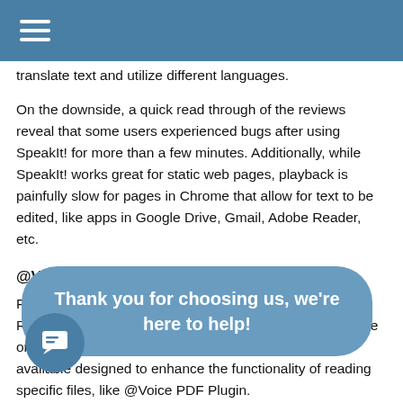translate text and utilize different languages.
On the downside, a quick read through of the reviews reveal that some users experienced bugs after using SpeakIt! for more than a few minutes. Additionally, while SpeakIt! works great for static web pages, playback is painfully slow for pages in Chrome that allow for text to be edited, like apps in Google Drive, Gmail, Adobe Reader, etc.
@Voice Aloud Reader
For busy audiobook aficionados on the go, @Voice Aloud Reader is a great option for students. It is available for free on the Google Play Store. The app also has plugins available designed to enhance the functionality of reading specific files, like @Voice PDF Plugin.
@Voice Aloud Reader works by uploading text to the
Thank you for choosing us, we're here to help!